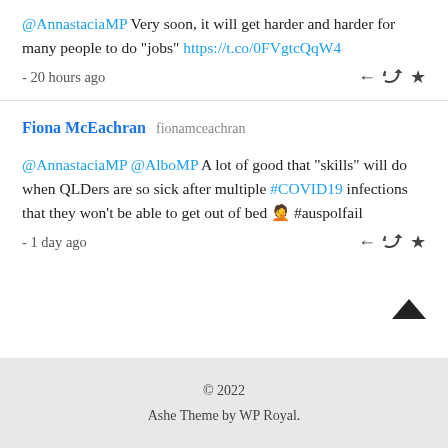@AnnastaciaMP Very soon, it will get harder and harder for many people to do "jobs" https://t.co/0FVgtcQqW4
- 20 hours ago
Fiona McEachran fionamceachran
@AnnastaciaMP @AlboMP A lot of good that "skills" will do when QLDers are so sick after multiple #COVID19 infections that they won't be able to get out of bed 🤦 #auspolfail
- 1 day ago
© 2022
Ashe Theme by WP Royal.